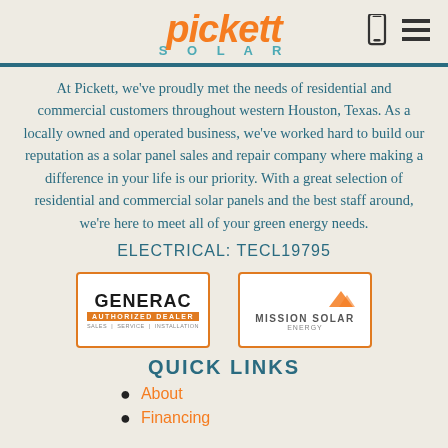pickett SOLAR
At Pickett, we've proudly met the needs of residential and commercial customers throughout western Houston, Texas. As a locally owned and operated business, we've worked hard to build our reputation as a solar panel sales and repair company where making a difference in your life is our priority. With a great selection of residential and commercial solar panels and the best staff around, we're here to meet all of your green energy needs.
ELECTRICAL: TECL19795
[Figure (logo): Two partner logos side by side in orange-bordered boxes: Generac Authorized Dealer (Sales | Service | Installation) and Mission Solar Energy with orange triangle icon]
QUICK LINKS
About
Financing